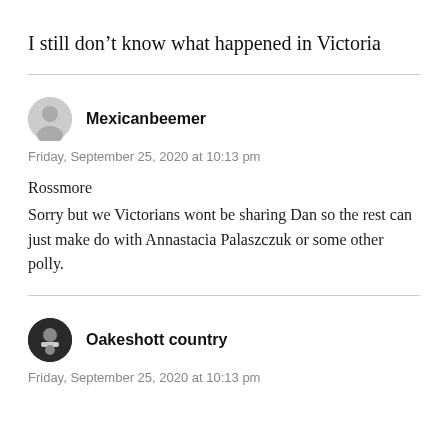I still don't know what happened in Victoria
Mexicanbeemer
Friday, September 25, 2020 at 10:13 pm
Rossmore
Sorry but we Victorians wont be sharing Dan so the rest can just make do with Annastacia Palaszczuk or some other polly.
Oakeshott country
Friday, September 25, 2020 at 10:13 pm